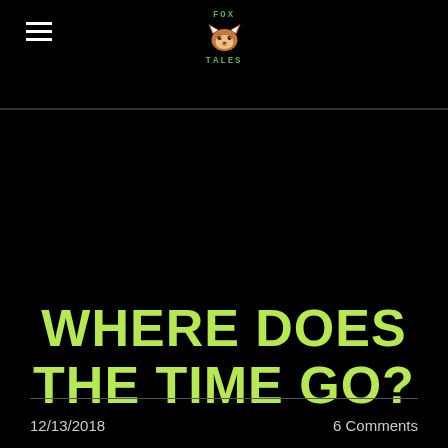FOX TALES
WHERE DOES THE TIME GO?
12/13/2018   6 Comments